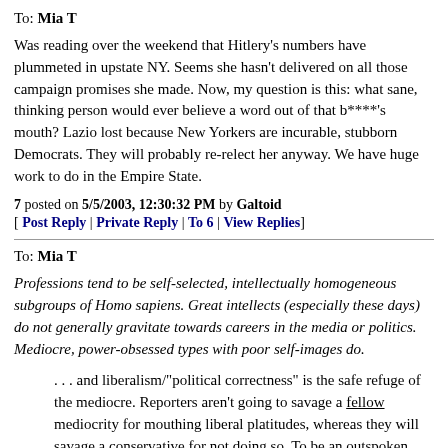To: Mia T
Was reading over the weekend that Hitlery's numbers have plummeted in upstate NY. Seems she hasn't delivered on all those campaign promises she made. Now, my question is this: what sane, thinking person would ever believe a word out of that b****'s mouth? Lazio lost because New Yorkers are incurable, stubborn Democrats. They will probably re-relect her anyway. We have huge work to do in the Empire State.
7 posted on 5/5/2003, 12:30:32 PM by Galtoid
[ Post Reply | Private Reply | To 6 | View Replies]
To: Mia T
Professions tend to be self-selected, intellectually homogeneous subgroups of Homo sapiens. Great intellects (especially these days) do not generally gravitate towards careers in the media or politics. Mediocre, power-obsessed types with poor self-images do.
. . . and liberalism/"political correctness" is the safe refuge of the mediocre. Reporters aren't going to savage a fellow mediocrity for mouthing liberal platitudes, whereas they will savage a conservative for not doing so. To be an outspoken conservative is thus to have courage (and, quite often, actual intelligence).